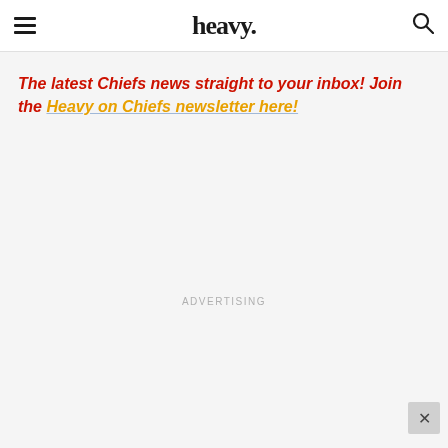heavy.
The latest Chiefs news straight to your inbox! Join the Heavy on Chiefs newsletter here!
ADVERTISING